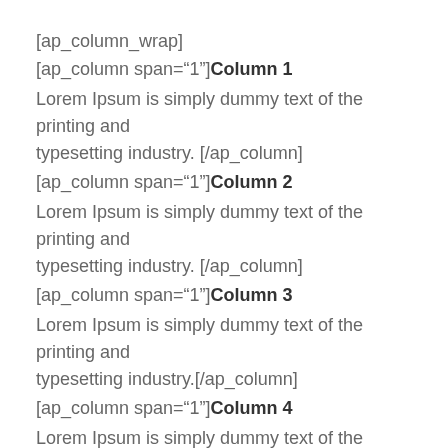[ap_column_wrap]
[ap_column span="1"] Column 1

Lorem Ipsum is simply dummy text of the printing and typesetting industry. [/ap_column]
[ap_column span="1"] Column 2

Lorem Ipsum is simply dummy text of the printing and typesetting industry. [/ap_column]
[ap_column span="1"] Column 3

Lorem Ipsum is simply dummy text of the printing and typesetting industry.[/ap_column]
[ap_column span="1"] Column 4

Lorem Ipsum is simply dummy text of the printing and typesetting industry.[/ap_column]
[ap_column span="1"] Column 5

Lorem Ipsum is simply dummy text of the printing and